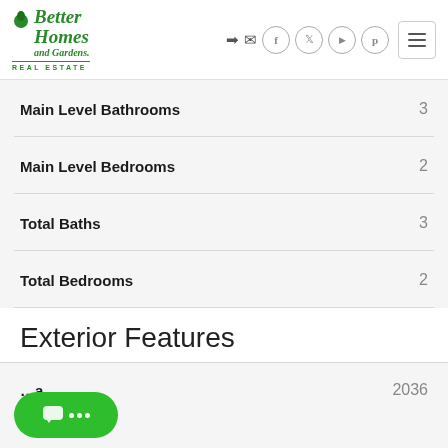[Figure (logo): Better Homes and Gardens Real Estate logo in green]
| Feature | Value |
| --- | --- |
| Main Level Bathrooms | 3 |
| Main Level Bedrooms | 2 |
| Total Baths | 3 |
| Total Bedrooms | 2 |
Exterior Features
...a  2036
[Figure (other): Green chat bubble button with three dots]